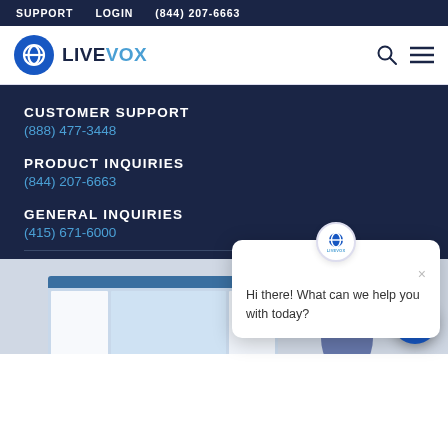SUPPORT   LOGIN   (844) 207-6663
[Figure (logo): LiveVox logo with blue circle icon and LIVEVOX wordmark, plus search and menu icons]
CUSTOMER SUPPORT
(888) 477-3448
PRODUCT INQUIRIES
(844) 207-6663
GENERAL INQUIRIES
(415) 671-6000
[Figure (screenshot): Chat popup with LiveVox icon showing message 'Hi there! What can we help you with today?' and a close X button]
[Figure (photo): Bottom section showing a screenshot of LiveVox software interface alongside a person]